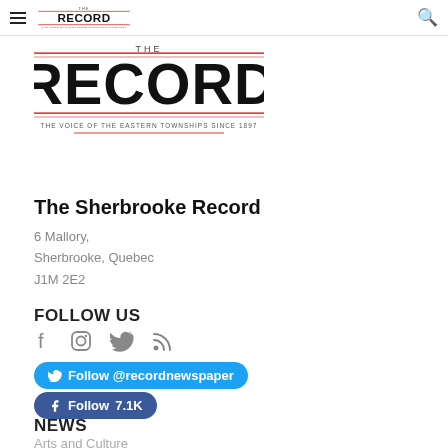THE RECORD — navigation bar with hamburger menu, small logo, search icon
[Figure (logo): The Record newspaper logo — THE RECORD in large bold text with red decorative lines and subtitle 'The Voice of the Eastern Townships Since 1897']
The Sherbrooke Record
6 Mallory,
Sherbrooke, Quebec
J1M 2E2
FOLLOW US
Social icons: Facebook, Instagram, Twitter, RSS
Follow @recordnewspaper
Follow 7.1K
NEWS
Arts and Culture